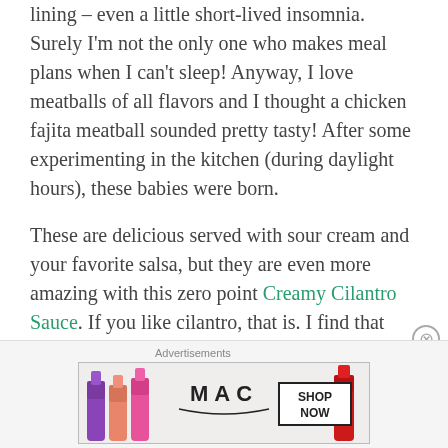lining – even a little short-lived insomnia. Surely I'm not the only one who makes meal plans when I can't sleep!  Anyway, I love meatballs of all flavors and I thought a chicken fajita meatball sounded pretty tasty! After some experimenting in the kitchen (during daylight hours), these babies were born.
These are delicious served with sour cream and your favorite salsa, but they are even more amazing with this zero point Creamy Cilantro Sauce.  If you like cilantro, that is. I find that most people either love it or hate it. I happen to love it. This sauce is easy to make in your blender and will store in the fridge for up to a week. Try them together for the perfect healthy meal.  ~Erin
[Figure (other): MAC cosmetics advertisement banner showing lipsticks and 'SHOP NOW' button]